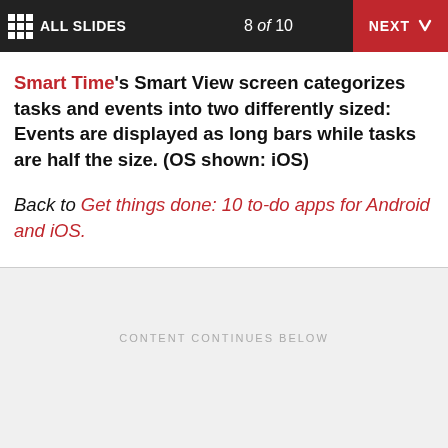ALL SLIDES   8 of 10   NEXT
Smart Time's Smart View screen categorizes tasks and events into two differently sized: Events are displayed as long bars while tasks are half the size. (OS shown: iOS)
Back to Get things done: 10 to-do apps for Android and iOS.
CONTENT CONTINUES BELOW